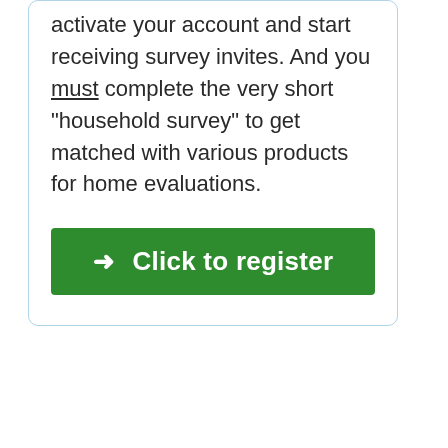activate your account and start receiving survey invites. And you must complete the very short "household survey" to get matched with various products for home evaluations.
➜ Click to register